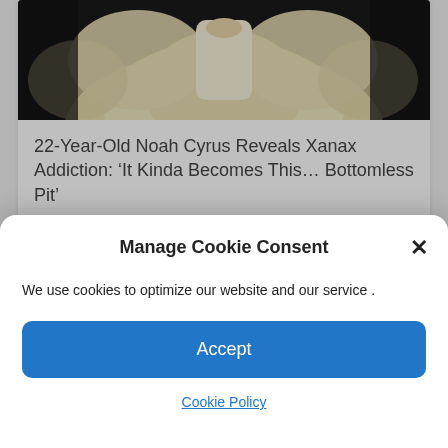[Figure (photo): Photo of a woman in a large cream/white dress at what appears to be a red carpet event]
22-Year-Old Noah Cyrus Reveals Xanax Addiction: ‘It Kinda Becomes This… Bottomless Pit’
Tanialezakblog Admin   July 5, 2022
[Figure (photo): Partial image showing a red and black patterned background]
Manage Cookie Consent
We use cookies to optimize our website and our service .
Accept
Cookie Policy